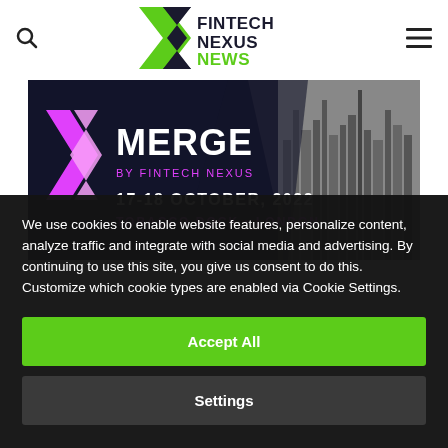[Figure (logo): Fintech Nexus News logo with green and dark X mark and text FINTECH NEXUS NEWS]
[Figure (photo): Merge by Fintech Nexus event banner: 17-18 October 2022, Tobacco Dock, London, dark navy background with pink X logo and cityscape photo]
We use cookies to enable website features, personalize content, analyze traffic and integrate with social media and advertising. By continuing to use this site, you give us consent to do this. Customize which cookie types are enabled via Cookie Settings.
Accept All
Settings